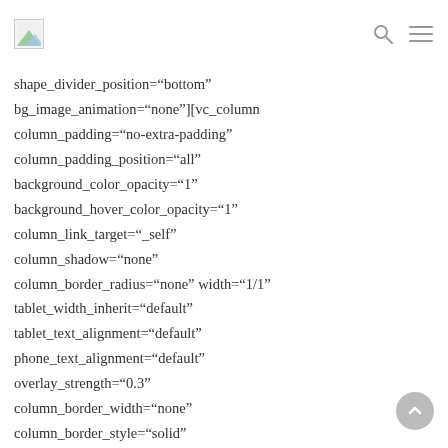[logo] [search icon] [menu icon]
shape_divider_position="bottom"
bg_image_animation="none"][vc_column
column_padding="no-extra-padding"
column_padding_position="all"
background_color_opacity="1"
background_hover_color_opacity="1"
column_link_target="_self"
column_shadow="none"
column_border_radius="none" width="1/1"
tablet_width_inherit="default"
tablet_text_alignment="default"
phone_text_alignment="default"
overlay_strength="0.3"
column_border_width="none"
column_border_style="solid"
bg_image_animation="none"][vc_column_text]